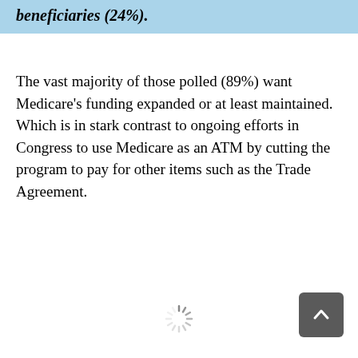beneficiaries (24%).
The vast majority of those polled (89%) want Medicare's funding expanded or at least maintained. Which is in stark contrast to ongoing efforts in Congress to use Medicare as an ATM by cutting the program to pay for other items such as the Trade Agreement.